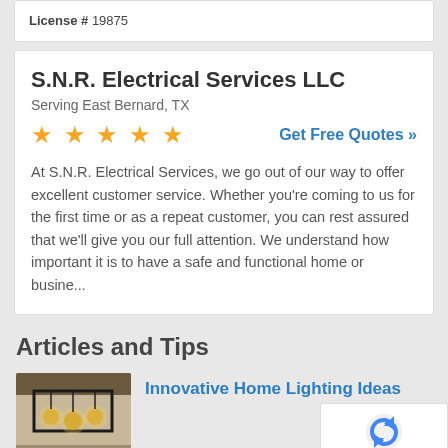License # 19875
S.N.R. Electrical Services LLC
Serving East Bernard, TX
★★★★★
Get Free Quotes »
At S.N.R. Electrical Services, we go out of our way to offer excellent customer service. Whether you're coming to us for the first time or as a repeat customer, you can rest assured that we'll give you our full attention. We understand how important it is to have a safe and functional home or busine...
Articles and Tips
[Figure (photo): Photo of modern ceiling lighting fixture with multiple pendant lights in a room]
Innovative Home Lighting Ideas